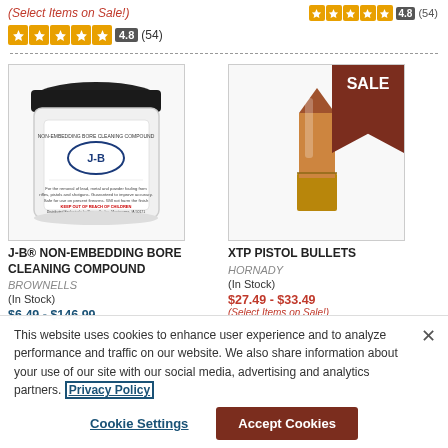(Select Items on Sale!)
[Figure (other): Orange star rating row: 5 stars, rating badge 4.8, review count (54)]
[Figure (photo): J-B Non-Embedding Bore Cleaning Compound product jar, white with black lid]
J-B® NON-EMBEDDING BORE CLEANING COMPOUND
BROWNELLS
(In Stock)
$6.49 - $146.99
[Figure (photo): XTP pistol bullet (copper colored), with red SALE banner in top right corner]
XTP PISTOL BULLETS
HORNADY
(In Stock)
$27.49 - $33.49
(Select Items on Sale!)
This website uses cookies to enhance user experience and to analyze performance and traffic on our website. We also share information about your use of our site with our social media, advertising and analytics partners. Privacy Policy
Cookie Settings
Accept Cookies